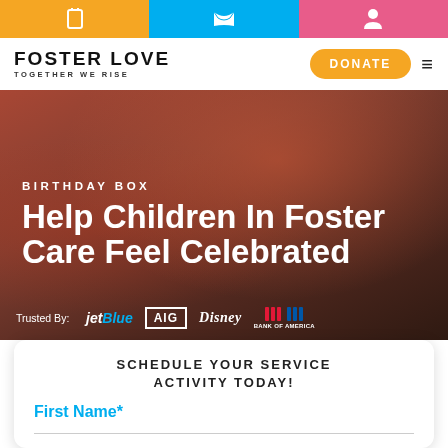Navigation bar with icons: phone, shirt, person
[Figure (logo): Foster Love - Together We Rise logo with Donate button and hamburger menu]
[Figure (photo): Blurred background photo of a child. Overlay text: BIRTHDAY BOX / Help Children In Foster Care Feel Celebrated. Trusted By: jetBlue, AIG, Disney, Bank of America]
BIRTHDAY BOX
Help Children In Foster Care Feel Celebrated
Trusted By: jetBlue AIG Disney Bank of America
SCHEDULE YOUR SERVICE ACTIVITY TODAY!
First Name*